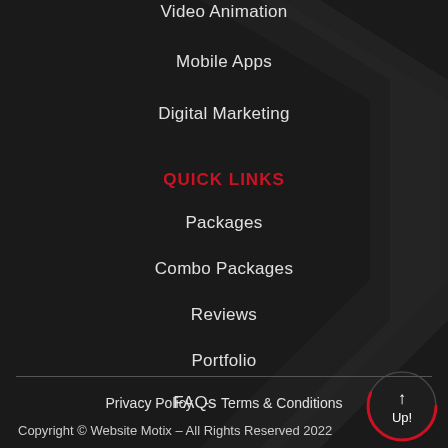Video Animation
Mobile Apps
Digital Marketing
QUICK LINKS
Packages
Combo Packages
Reviews
Portfolio
FAQs
[Figure (illustration): Circular up/back-to-top button with arrow icon and 'Up!' label, bordered with red arc]
Privacy Policy  -  Terms & Conditions
Copyright © Website Motix – All Rights Reserved 2022